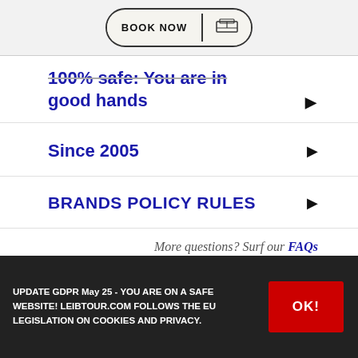BOOK NOW
100% safe: You are in good hands
Since 2005
BRANDS POLICY RULES
More questions? Surf our FAQs
UPDATE GDPR May 25 - YOU ARE ON A SAFE WEBSITE! LEIBTOUR.COM FOLLOWS THE EU LEGISLATION ON COOKIES AND PRIVACY.